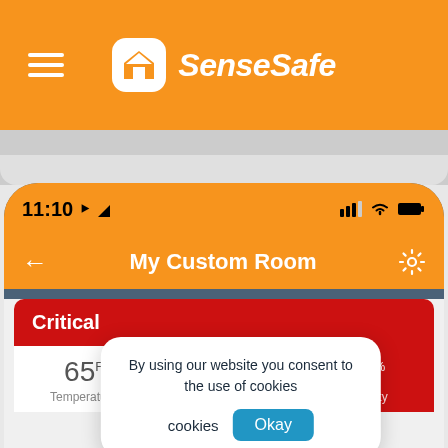[Figure (screenshot): SenseSafe app website header with orange background, hamburger menu on left, and SenseSafe logo with home icon in center]
[Figure (screenshot): Mobile phone screenshot showing SenseSafe app with 'My Custom Room' screen displaying time 11:10, Critical status bar in red, sensor readings showing 65°F Temperature, Sound Level, and 81% Humidity. A cookie consent popup overlay reads 'By using our website you consent to the use of cookies' with an Okay button.]